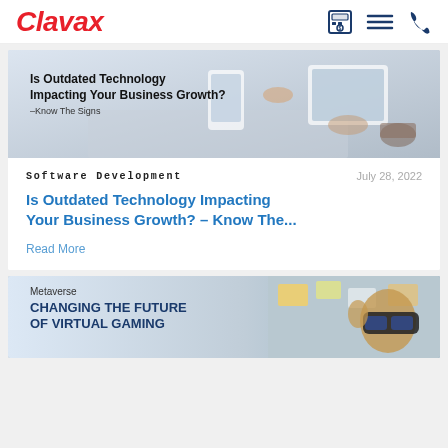Clavax
[Figure (photo): Blog post header image showing people working with smartphones and tablets on a desk, with text overlay: 'Is Outdated Technology Impacting Your Business Growth? –Know The Signs']
Software Development
July 28, 2022
Is Outdated Technology Impacting Your Business Growth? – Know The...
Read More
[Figure (photo): Partial blog post image about Metaverse, showing a person wearing VR headset, with text: 'Metaverse CHANGING THE FUTURE OF VIRTUAL GAMING']